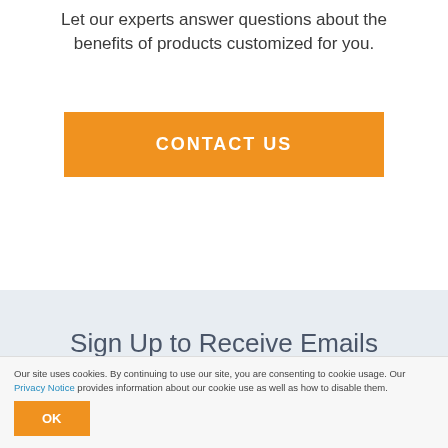Let our experts answer questions about the benefits of products customized for you.
[Figure (other): Orange CONTACT US button]
Sign Up to Receive Emails
Our site uses cookies. By continuing to use our site, you are consenting to cookie usage. Our Privacy Notice provides information about our cookie use as well as how to disable them.
[Figure (other): Orange OK button]